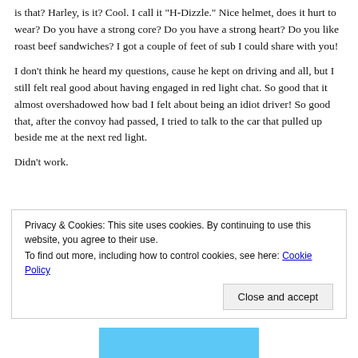is that? Harley, is it? Cool. I call it "H-Dizzle." Nice helmet, does it hurt to wear? Do you have a strong core? Do you have a strong heart? Do you like roast beef sandwiches? I got a couple of feet of sub I could share with you!
I don't think he heard my questions, cause he kept on driving and all, but I still felt real good about having engaged in red light chat. So good that it almost overshadowed how bad I felt about being an idiot driver! So good that, after the convoy had passed, I tried to talk to the car that pulled up beside me at the next red light.
Didn't work.
Privacy & Cookies: This site uses cookies. By continuing to use this website, you agree to their use.
To find out more, including how to control cookies, see here: Cookie Policy